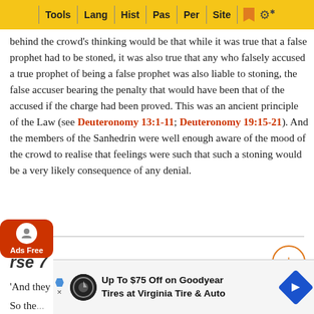Tools | Lang | Hist | Pas | Per | Site
behind the crowd's thinking would be that while it was true that a false prophet had to be stoned, it was also true that any who falsely accused a true prophet of being a false prophet was also liable to stoning, the false accuser bearing the penalty that would have been that of the accused if the charge had been proved. This was an ancient principle of the Law (see Deuteronomy 13:1-11; Deuteronomy 19:15-21). And the members of the Sanhedrin were well enough aware of the mood of the crowd to realise that feelings were such that such a stoning would be a very likely consequence of any denial.
Verse 7
'And they answered, that they knew not whence it was'
So the... r to Hi...